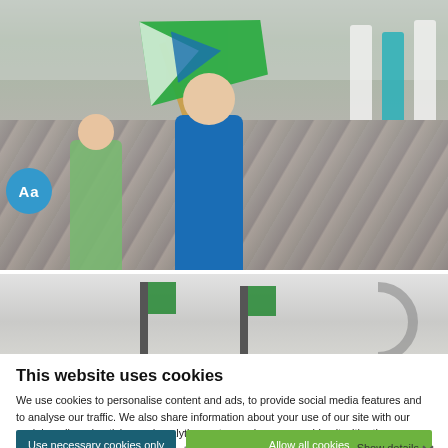[Figure (photo): Group photo outdoors on cobblestone area. A young woman in a blue hoodie holds a green eco/environmental flag on a wooden pole. A woman in a green floral dress walks behind her. Other people in teal/white clothing stand in the background. A blue circular badge with 'Aa' is visible on the lower left.]
[Figure (photo): Partial view of green flags on poles against a grey/overcast sky background.]
This website uses cookies
We use cookies to personalise content and ads, to provide social media features and to analyse our traffic. We also share information about your use of our site with our social media, advertising and analytics partners who may combine it with other information that you've provided to them or that they've collected from your use of their services.
Use necessary cookies only
Allow all cookies
Show details